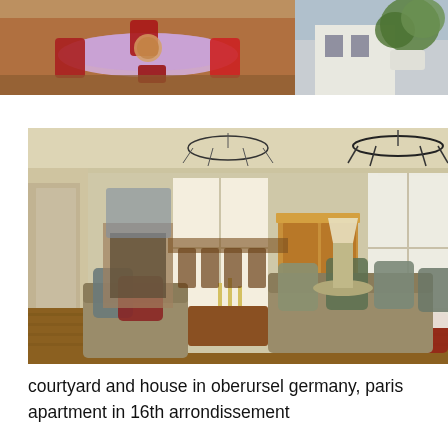[Figure (photo): Top left photo: outdoor dining table with red chairs and colorful tablecloth on a terrace/patio]
[Figure (photo): Top right photo: exterior of a white building with green plants/foliage]
[Figure (photo): Main large photo: elegant Parisian apartment interior with chandeliers, French doors, fireplace, armchairs, oriental rugs, and classic moldings]
courtyard and house in oberursel germany, paris apartment in 16th arrondissement